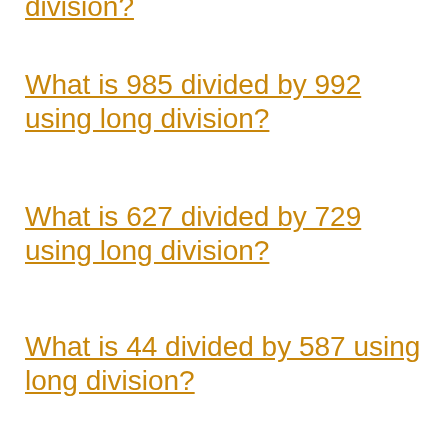division?
What is 985 divided by 992 using long division?
What is 627 divided by 729 using long division?
What is 44 divided by 587 using long division?
What is 429 divided by 812 using long division?
What is 45 divided by 484 using long division?